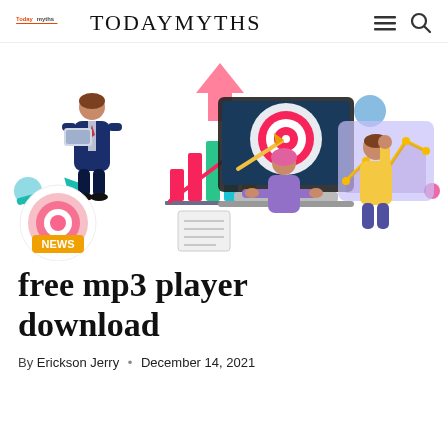TODAYMYTHS
[Figure (illustration): Isometric illustration showing business/digital marketing concept: a person in a suit holding a laptop, bar charts with upward trend arrow, a laptop screen with target/bullseye graphic and arrow, a person with pink hair typing at a keyboard, a person in yellow shirt interacting with a data chart screen, arrows and geometric shapes, 'NEWS' label on a target/bullseye shape at lower left.]
free mp3 player download
By Erickson Jerry • December 14, 2021